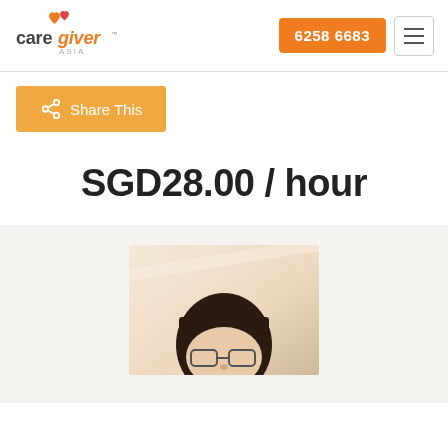[Figure (logo): CareGiver Asia logo with orange/red heart shapes above text]
6258 6683
Share This
SGD28.00 / hour
[Figure (photo): Top portion of a person's head with dark hair and glasses visible, warm beige background]